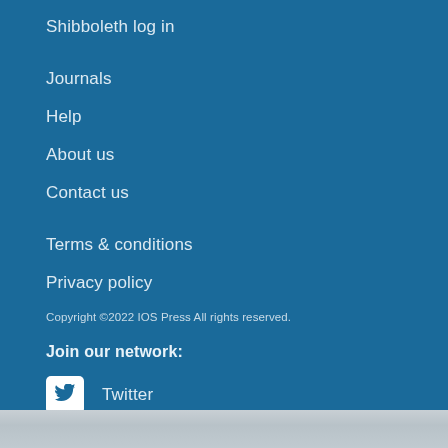Shibboleth log in
Journals
Help
About us
Contact us
Terms & conditions
Privacy policy
Copyright ©2022 IOS Press All rights reserved.
Join our network:
Twitter
Facebook
LinkedIn